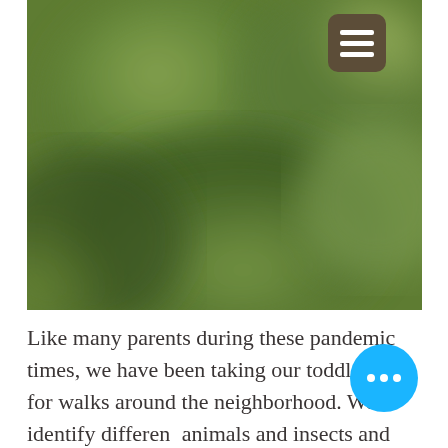[Figure (photo): Blurred green outdoor photo, likely foliage or plants in a garden/neighborhood setting. A hamburger menu icon (three horizontal lines on a dark brown rounded square) is overlaid in the top-right corner of the image.]
Like many parents during these pandemic times, we have been taking our toddler for walks around the neighborhood. We identify different animals and insects and their purposes, as well as different kinds of plants. We talk